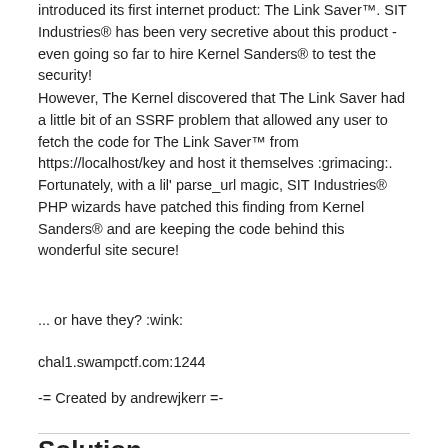introduced its first internet product: The Link Saver™. SIT Industries® has been very secretive about this product - even going so far to hire Kernel Sanders® to test the security!
However, The Kernel discovered that The Link Saver had a little bit of an SSRF problem that allowed any user to fetch the code for The Link Saver™ from https://localhost/key and host it themselves :grimacing:. Fortunately, with a lil' parse_url magic, SIT Industries® PHP wizards have patched this finding from Kernel Sanders® and are keeping the code behind this wonderful site secure!
... or have they? :wink:
chal1.swampctf.com:1244
-= Created by andrewjkerr =-
Solution
After connecting to the website of the challenge, we obtain the following page:
[Figure (screenshot): Screenshot of 'The Link Fetcher' web page showing a title, subtitle text 'Want to remember cool links? This link fetcher will fetch links and store them for you!', an input field and a Submit Query button.]